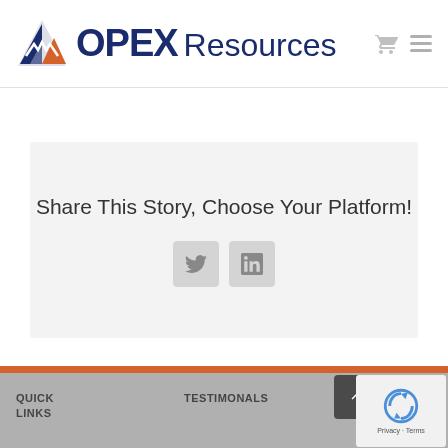[Figure (logo): OPEX Resources logo with blue triangle/mountain icon and blue text 'OPEX Resources']
Share This Story, Choose Your Platform!
[Figure (infographic): Social sharing buttons: Twitter (bird icon) and LinkedIn (in icon), in rounded square grey buttons]
QUICK LINKS
TESTIMONALS
OI... RE...